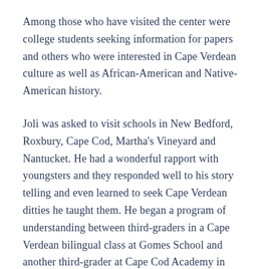Among those who have visited the center were college students seeking information for papers and others who were interested in Cape Verdean culture as well as African-American and Native-American history.
Joli was asked to visit schools in New Bedford, Roxbury, Cape Cod, Martha's Vineyard and Nantucket. He had a wonderful rapport with youngsters and they responded well to his story telling and even learned to seek Cape Verdean ditties he taught them. He began a program of understanding between third-graders in a Cape Verdean bilingual class at Gomes School and another third-grader at Cape Cod Academy in Osterville with the cooperation of the two teachers. The children exchanged letters, came to visit and were entertained by him. His goal was to teach and